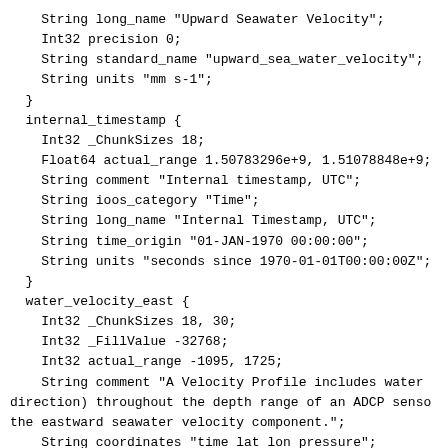String long_name "Upward Seawater Velocity";
    Int32 precision 0;
    String standard_name "upward_sea_water_velocity";
    String units "mm s-1";
  }
  internal_timestamp {
    Int32 _ChunkSizes 18;
    Float64 actual_range 1.50783296e+9, 1.51078848e+9;
    String comment "Internal timestamp, UTC";
    String ioos_category "Time";
    String long_name "Internal Timestamp, UTC";
    String time_origin "01-JAN-1970 00:00:00";
    String units "seconds since 1970-01-01T00:00:00Z";
  }
  water_velocity_east {
    Int32 _ChunkSizes 18, 30;
    Int32 _FillValue -32768;
    Int32 actual_range -1095, 1725;
    String comment "A Velocity Profile includes water
direction) throughout the depth range of an ADCP senso
the eastward seawater velocity component.";
    String coordinates "time lat lon pressure";
    String data_product_identifier "VELPROF-VLE_L0";
    String ioos_category "Unknown";
    String long_name "Eastward Seawater Velocity";